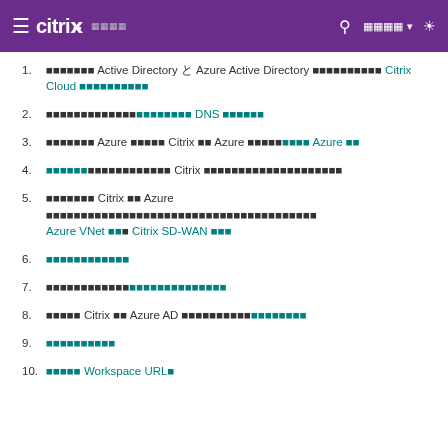Citrix navigation header with logo and menu icons
1. [CJK] Active Directory と Azure Active Directory [CJK] Citrix Cloud [CJK]
2. [CJK] DNS [CJK]
3. [CJK] Azure [CJK] Citrix [CJK] Azure [CJK] Azure [CJK]
4. [CJK] Citrix [CJK]
5. [CJK] Citrix [CJK] Azure [CJK] Azure VNet [CJK] Citrix SD-WAN [CJK]
6. [CJK link]
7. [CJK] [CJK link]
8. [CJK] Citrix [CJK] Azure AD [CJK link]
9. [CJK link]
10. [CJK] Workspace URL [CJK]